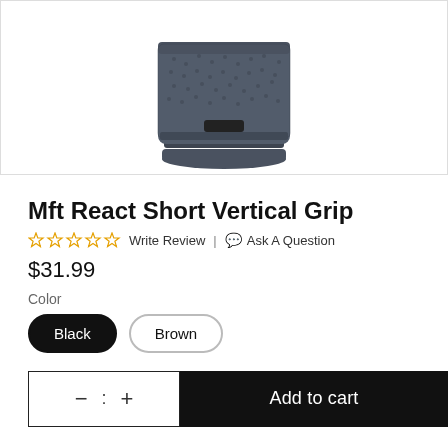[Figure (photo): Close-up photo of a dark gray/slate colored Mft React Short Vertical Grip, showing textured surface and base, on white background]
Mft React Short Vertical Grip
☆☆☆☆☆ Write Review | 💬 Ask A Question
$31.99
Color
Black  Brown
− : +   Add to cart